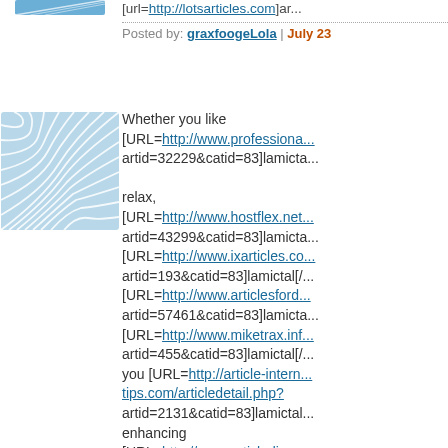[url=http://lotsarticles.com]ar...
Posted by: graxfoogeLola | July 23
[Figure (illustration): Blue swirling wave pattern avatar image]
Whether you like [URL=http://www.professiona... artid=32229&catid=83]lamicta... relax, [URL=http://www.hostflex.net... artid=43299&catid=83]lamicta... [URL=http://www.ixarticles.co... artid=193&catid=83]lamictal[/... [URL=http://www.articlesford... artid=57461&catid=83]lamicta... [URL=http://www.miketrax.inf... artid=455&catid=83]lamictal[/... you [URL=http://article-intern... tips.com/articledetail.php? artid=2131&catid=83]lamictal... enhancing [URL=http://www.articledisco... artid=8967&catid=83]lamictal... with [URL=http://uk.brand-...